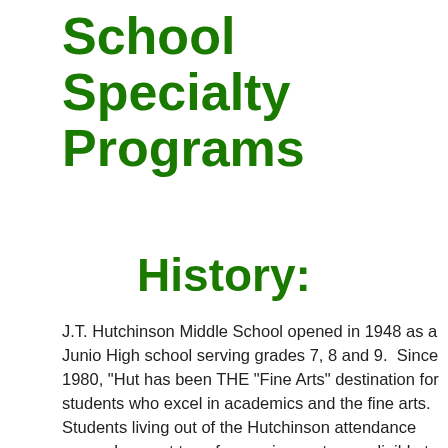School Specialty Programs
History:
J.T. Hutchinson Middle School opened in 1948 as a Junior High school serving grades 7, 8 and 9.  Since 1980, "Hut" has been THE "Fine Arts" destination for students who excel in academics and the fine arts.  Students living out of the Hutchinson attendance zone who meet transfer requirements are eligible to submit an application for admission. LISD transitioned to middle schools in 2006, moving 9th graders to high schools and 6th graders to